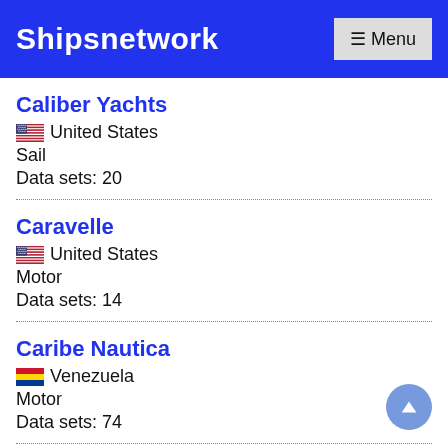Shipsnetwork
Caliber Yachts | United States | Sail | Data sets: 20
Caravelle | United States | Motor | Data sets: 14
Caribe Nautica | Venezuela | Motor | Data sets: 74
Catalina | United States